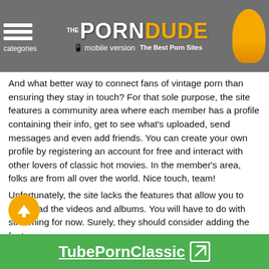The Porn Dude - The Best Porn Sites | categories | mobile version
And what better way to connect fans of vintage porn than ensuring they stay in touch? For that sole purpose, the site features a community area where each member has a profile containing their info, get to see what's uploaded, send messages and even add friends. You can create your own profile by registering an account for free and interact with other lovers of classic hot movies. In the member's area, folks are from all over the world. Nice touch, team!
Unfortunately, the site lacks the features that allow you to download the videos and albums. You will have to do with streaming for now. Surely, they should consider adding the feature.
ThePornDude is willing to overlook the tapes' quality, but I think the site may want to look at their loading speed as it is a bit on the slow side.
The site also contains ads around the video player and though it
TubePornClassic